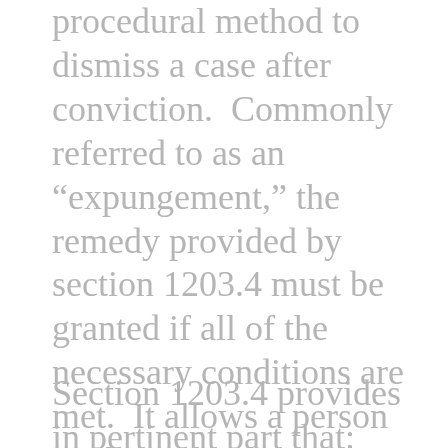procedural method to dismiss a case after conviction. Commonly referred to as an “expungement,” the remedy provided by section 1203.4 must be granted if all of the necessary conditions are met. It allows a person to claim, for many everyday purposes, that he or she has no record of a criminal conviction. However, it does not restore civil rights (such as the right to own or possess firearms), nor does it erase a person's record of conviction.
Section 1203.4 provides in pertinent part that: